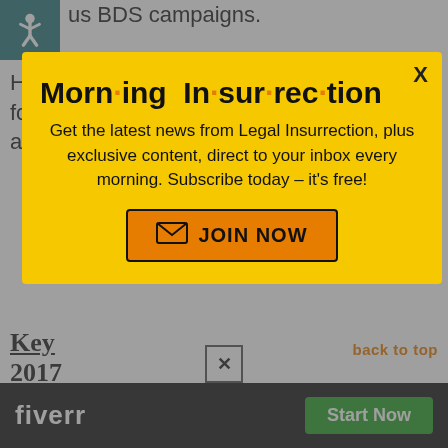us BDS campaigns.
Here’s a short video of the ICC’s services for students (many more materials are also available on its website):
[Figure (screenshot): Modal popup overlay on a webpage. Yellow background modal with title 'Morn·ing In·sur·rec·tion', body text 'Get the latest news from Legal Insurrection, plus exclusive content, direct to your inbox every morning. Subscribe today – it’s free!' and an orange JOIN NOW button with envelope icon. Close X in top right. Fiverr advertisement bar at bottom with Start Now button.]